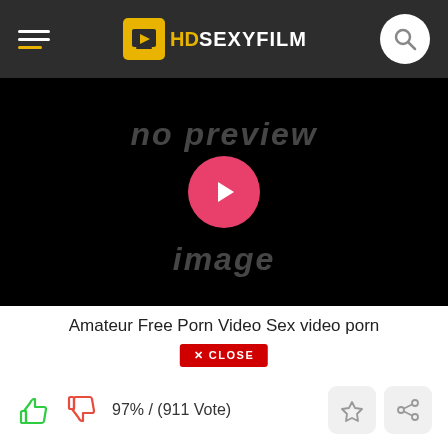HDSEXYFILM
[Figure (screenshot): Video player showing 'no preview image' placeholder with pink play button in center on black background]
Amateur Free Porn Video Sex video porn
✕ CLOSE
97% / (911 Vote)